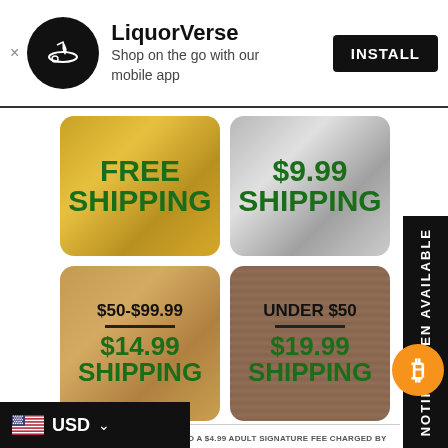LiquorVerse — Shop on the go with our mobile app — INSTALL
[Figure (infographic): Shipping rates infographic with four colored cards: FREE SHIPPING (gold), $9.99 SHIPPING (silver), $50-$99.99 / $14.99 SHIPPING (bronze), UNDER $50 / $19.99 SHIPPING (wood texture)]
*ALL ORDERS ARE SUBJECT TO A $4.99 ADULT SIGNATURE FEE CHARGED BY THE CARRIER